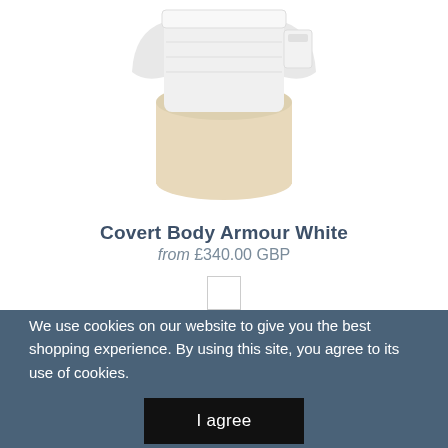[Figure (photo): Partial view of white covert body armour product on a mannequin torso form, white padded vest with beige/cream lower section, white background.]
Covert Body Armour White
from £340.00 GBP
[Figure (other): White color swatch square]
We use cookies on our website to give you the best shopping experience. By using this site, you agree to its use of cookies.
I agree